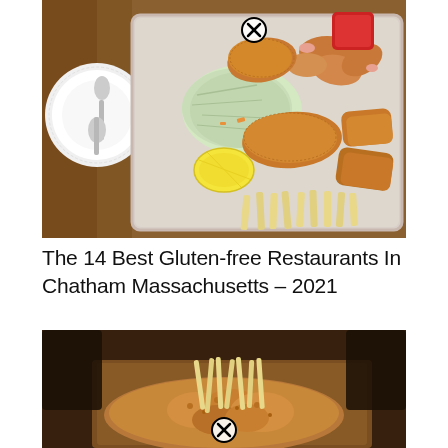[Figure (photo): Top-down view of a fried seafood platter on a metal tray with shrimp, fried fish pieces, french fries, coleslaw, lemon wedge, and a small cup of red sauce. A white plate with a spoon is visible in the upper left corner. A close/remove button icon appears near the top center.]
The 14 Best Gluten-free Restaurants In Chatham Massachusetts – 2021
[Figure (photo): Close-up photo of a fried food dish (appears to be fried clams or seafood with french fries) on a wooden table surface with a dark background. A close/remove button icon appears at the bottom center of the image.]